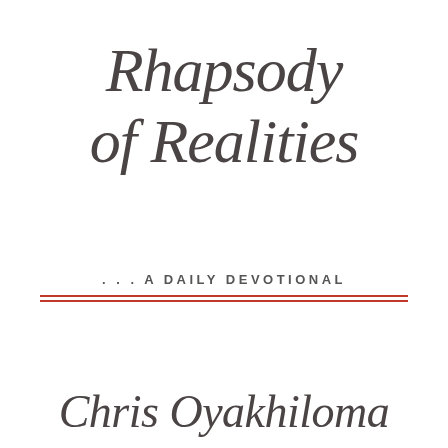Rhapsody of Realities
... A DAILY DEVOTIONAL
Chris Oyakhiloma